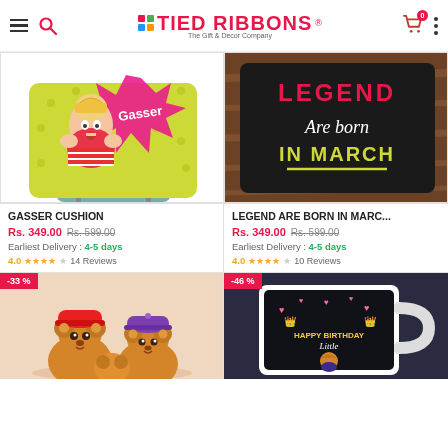Tied Ribbons - The Gift & Decor Company
[Figure (photo): Gasser Cushion product image - pop art style cushion with woman character on yellow dotted background]
GASSER CUSHION
Rs. 349.00  Rs. 599.00
Earliest Delivery : 4-5 days
4.0 ★★★★☆  14 Reviews
[Figure (photo): Legend Are Born In March cushion - black cushion with text 'LEGEND Are born IN MARCH' in red, white and yellow]
LEGEND ARE BORN IN MARC...
Rs. 349.00  Rs. 599.00
Earliest Delivery : 4-5 days
4.0 ★★★★☆  10 Reviews
[Figure (photo): Two teddy bears with colorful caps - red and purple cap teddy bears, -33% discount badge]
[Figure (photo): Happy Birthday Little Princess mug - black mug with birthday design, -46% discount badge]